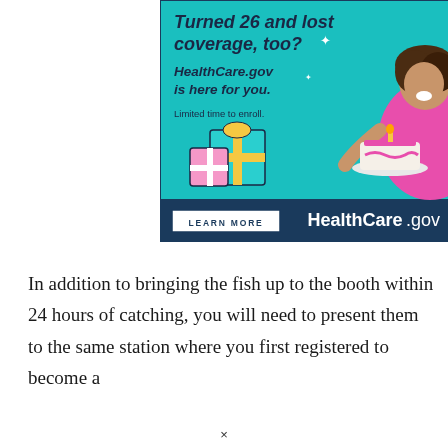[Figure (illustration): HealthCare.gov advertisement banner featuring a young woman holding a birthday cake, gift boxes, sparkle decorations, and a large '26' in yellow. Teal background with dark navy bottom bar reading 'LEARN MORE' button and HealthCare.gov logo. Text: 'Turned 26 and lost coverage, too? HealthCare.gov is here for you. Limited time to enroll.']
In addition to bringing the fish up to the booth within 24 hours of catching, you will need to present them to the same station where you first registered to become a